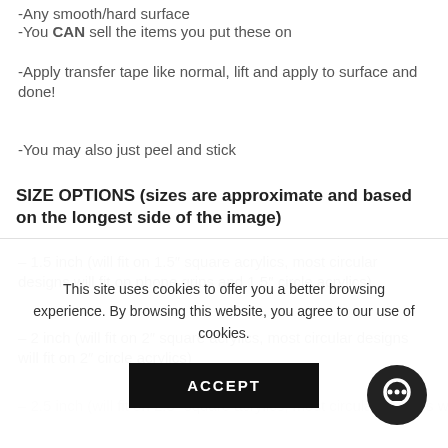-Any smooth/hard surface
-You CAN sell the items you put these on
-Apply transfer tape like normal, lift and apply to surface and done!
-You may also just peel and stick
SIZE OPTIONS (sizes are approximate and based on the longest side of the image)
– 1.5 inch (will fit on 1.5" square acrylics, most circular designs will fit on phone grips and 1.5" circle acrylics)
– 2 inch (will fit on 2" square acrylics, most circular designs will fit on 2" circle acrylics)
– 2.5 inch (will fit on 2.5" square acrylics, most circular designs...
This site uses cookies to offer you a better browsing experience. By browsing this website, you agree to our use of cookies.
ACCEPT